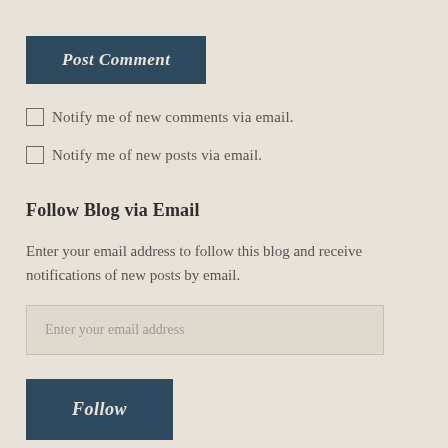Post Comment
Notify me of new comments via email.
Notify me of new posts via email.
Follow Blog via Email
Enter your email address to follow this blog and receive notifications of new posts by email.
Enter your email address
Follow